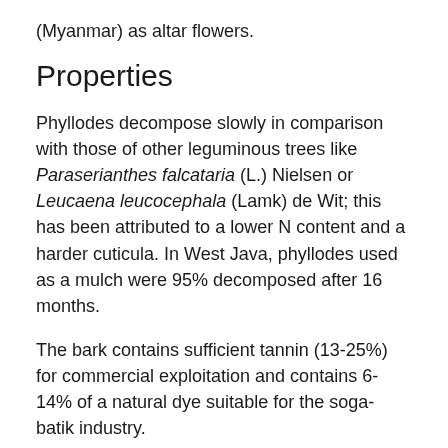(Myanmar) as altar flowers.
Properties
Phyllodes decompose slowly in comparison with those of other leguminous trees like Paraserianthes falcataria (L.) Nielsen or Leucaena leucocephala (Lamk) de Wit; this has been attributed to a lower N content and a harder cuticula. In West Java, phyllodes used as a mulch were 95% decomposed after 16 months.
The bark contains sufficient tannin (13-25%) for commercial exploitation and contains 6-14% of a natural dye suitable for the soga-batik industry.
Leaves have an in vitro dry matter digestibility of 33-37%. Per 100 g dry matter, leaves contain: crude protein 13-16 g, P 0.06-0.11 g, K 0.45-0.72 g, Ca 0.52-0.77 g, Mg 0.18-